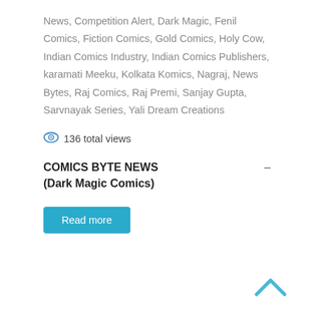News, Competition Alert, Dark Magic, Fenil Comics, Fiction Comics, Gold Comics, Holy Cow, Indian Comics Industry, Indian Comics Publishers, karamati Meeku, Kolkata Komics, Nagraj, News Bytes, Raj Comics, Raj Premi, Sanjay Gupta, Sarvnayak Series, Yali Dream Creations
136 total views
COMICS BYTE NEWS (Dark Magic Comics)
Read more